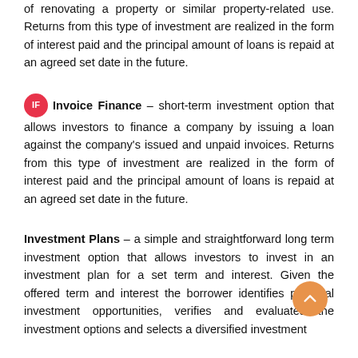of renovating a property or similar property-related use. Returns from this type of investment are realized in the form of interest paid and the principal amount of loans is repaid at an agreed set date in the future.
IF  Invoice Finance – short-term investment option that allows investors to finance a company by issuing a loan against the company's issued and unpaid invoices. Returns from this type of investment are realized in the form of interest paid and the principal amount of loans is repaid at an agreed set date in the future.
Investment Plans – a simple and straightforward long term investment option that allows investors to invest in an investment plan for a set term and interest. Given the offered term and interest the borrower identifies potential investment opportunities, verifies and evaluates the investment options and selects a diversified investment